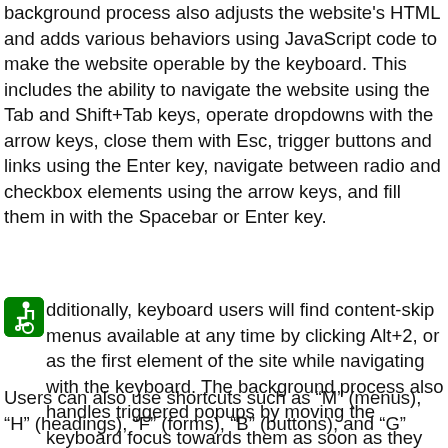background process also adjusts the website's HTML and adds various behaviors using JavaScript code to make the website operable by the keyboard. This includes the ability to navigate the website using the Tab and Shift+Tab keys, operate dropdowns with the arrow keys, close them with Esc, trigger buttons and links using the Enter key, navigate between radio and checkbox elements using the arrow keys, and fill them in with the Spacebar or Enter key.
Additionally, keyboard users will find content-skip menus available at any time by clicking Alt+2, or as the first element of the site while navigating with the keyboard. The background process also handles triggered popups by moving the keyboard focus towards them as soon as they appear, not allowing the focus to drift outside.
Users can also use shortcuts such as “M” (menus), “H” (headings), “F” (forms), “B” (buttons), and “G”